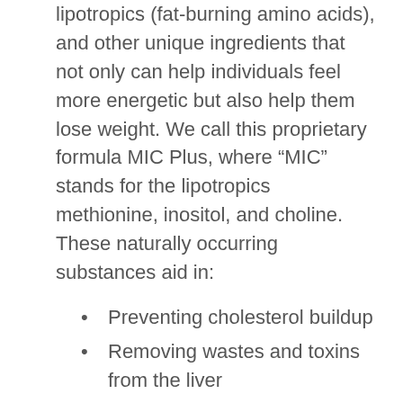lipotropics (fat-burning amino acids), and other unique ingredients that not only can help individuals feel more energetic but also help them lose weight. We call this proprietary formula MIC Plus, where “MIC” stands for the lipotropics methionine, inositol, and choline. These naturally occurring substances aid in:
Preventing cholesterol buildup
Removing wastes and toxins from the liver
Metabolizing fat
Pharmacy Rx is a licensed U.S. compounding pharmacy that is permitted to distribute our unique MIC Plus weight loss formula. O...